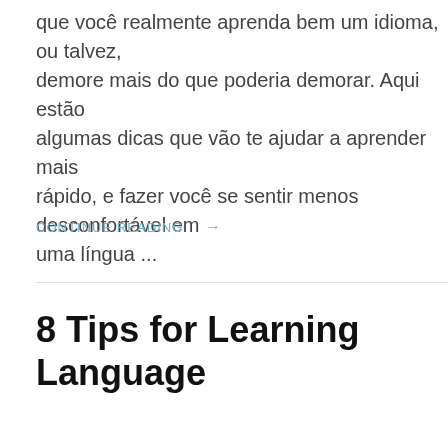que você realmente aprenda bem um idioma, ou talvez, demore mais do que poderia demorar. Aqui estão algumas dicas que vão te ajudar a aprender mais rápido, e fazer você se sentir menos desconfortável em uma língua ...
CONTINUE READING →
8 Tips for Learning Language